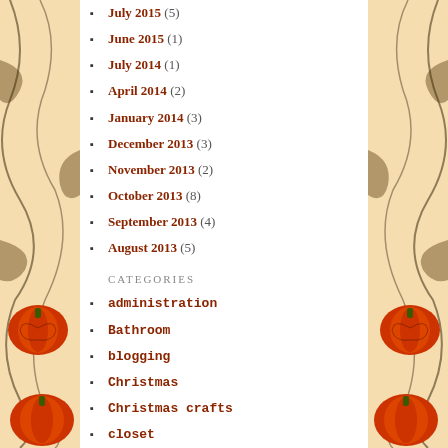July 2015 (5)
June 2015 (1)
July 2014 (1)
April 2014 (2)
January 2014 (3)
December 2013 (3)
November 2013 (2)
October 2013 (8)
September 2013 (4)
August 2013 (5)
CATEGORIES
administration
Bathroom
blogging
Christmas
Christmas crafts
closet
College
Craft Room